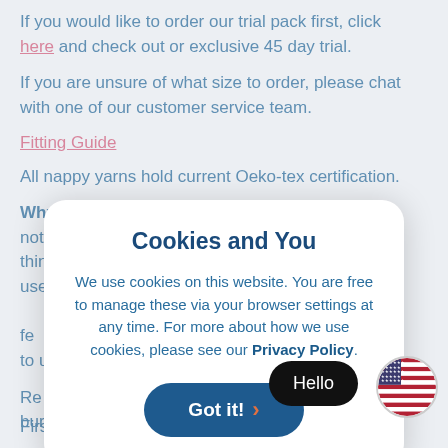If you would like to order our trial pack first, click here and check out or exclusive 45 day trial.
If you are unsure of what size to order, please chat with one of our customer service team.
Fitting Guide
All nappy yarns hold current Oeko-tex certification.
Why are your nappies coloured grey?  Why not?  It didn't think use…fe to u…
Re… bur…
[Figure (screenshot): Cookie consent modal dialog with title 'Cookies and You', body text about cookie usage and privacy policy link, and a 'Got it!' button with orange arrow]
Firstly we like to recommend that you always use a